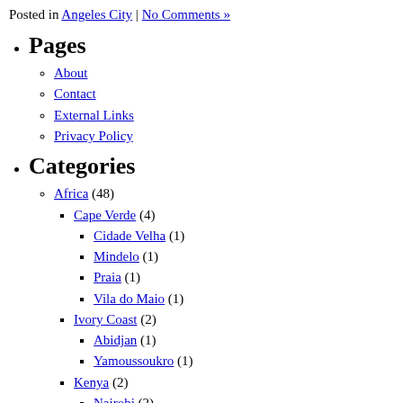Posted in Angeles City | No Comments »
Pages
About
Contact
External Links
Privacy Policy
Categories
Africa (48)
Cape Verde (4)
Cidade Velha (1)
Mindelo (1)
Praia (1)
Vila do Maio (1)
Ivory Coast (2)
Abidjan (1)
Yamoussoukro (1)
Kenya (2)
Nairobi (2)
Madagascar (1)